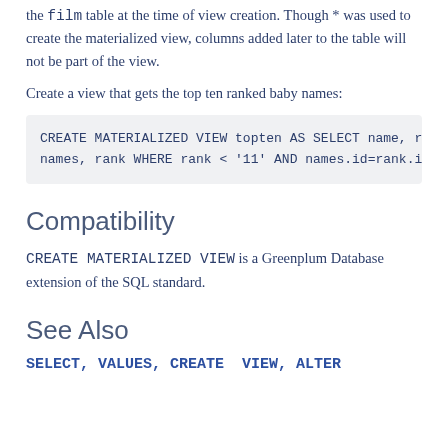the film table at the time of view creation. Though * was used to create the materialized view, columns added later to the table will not be part of the view.
Create a view that gets the top ten ranked baby names:
CREATE MATERIALIZED VIEW topten AS SELECT name, ra
names, rank WHERE rank < '11' AND names.id=rank.ic
Compatibility
CREATE MATERIALIZED VIEW is a Greenplum Database extension of the SQL standard.
See Also
SELECT, VALUES, CREATE  VIEW, ALTER